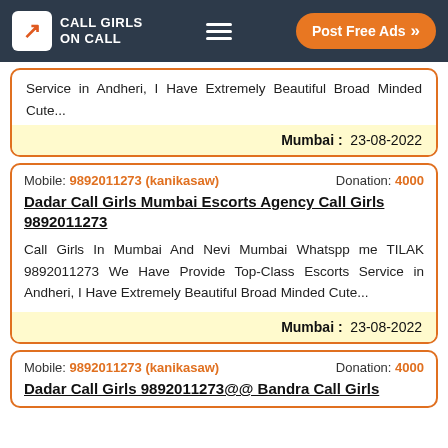CALL GIRLS ON CALL | Post Free Ads
Service in Andheri, I Have Extremely Beautiful Broad Minded Cute...
Mumbai :  23-08-2022
Mobile: 9892011273 (kanikasaw)    Donation: 4000
Dadar Call Girls Mumbai Escorts Agency Call Girls 9892011273
Call Girls In Mumbai And Nevi Mumbai Whatspp me TILAK 9892011273 We Have Provide Top-Class Escorts Service in Andheri, I Have Extremely Beautiful Broad Minded Cute...
Mumbai :  23-08-2022
Mobile: 9892011273 (kanikasaw)    Donation: 4000
Dadar Call Girls 9892011273@@ Bandra Call Girls